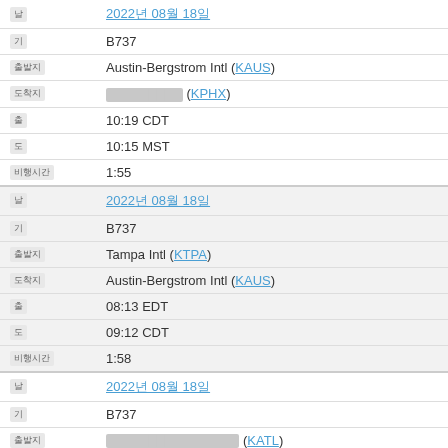| Label | Value |
| --- | --- |
| 날짜 | 2022년 08월 18일 |
| 기종 | B737 |
| 출발지 | Austin-Bergstrom Intl (KAUS) |
| 도착지 | [redacted] (KPHX) |
| 출발 | 10:19 CDT |
| 도착 | 10:15 MST |
| 비행시간 | 1:55 |
| 날짜 | 2022년 08월 18일 |
| 기종 | B737 |
| 출발지 | Tampa Intl (KTPA) |
| 도착지 | Austin-Bergstrom Intl (KAUS) |
| 출발 | 08:13 EDT |
| 도착 | 09:12 CDT |
| 비행시간 | 1:58 |
| 날짜 | 2022년 08월 18일 |
| 기종 | B737 |
| 출발지 | [redacted] (KATL) |
| 도착지 | Tampa Intl (KTPA) |
| 출발 | 06:15 EDT |
| 도착 | 07:12 EDT |